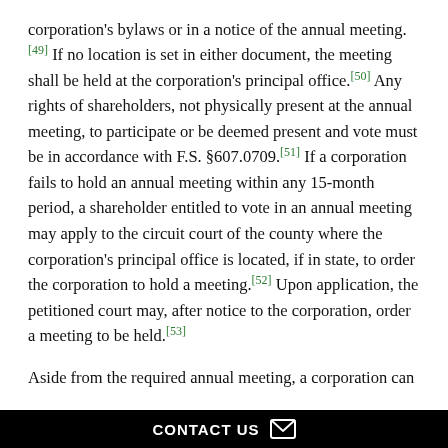corporation's bylaws or in a notice of the annual meeting. [49] If no location is set in either document, the meeting shall be held at the corporation's principal office.[50] Any rights of shareholders, not physically present at the annual meeting, to participate or be deemed present and vote must be in accordance with F.S. §607.0709.[51] If a corporation fails to hold an annual meeting within any 15-month period, a shareholder entitled to vote in an annual meeting may apply to the circuit court of the county where the corporation's principal office is located, if in state, to order the corporation to hold a meeting.[52] Upon application, the petitioned court may, after notice to the corporation, order a meeting to be held.[53]
Aside from the required annual meeting, a corporation can
CONTACT US